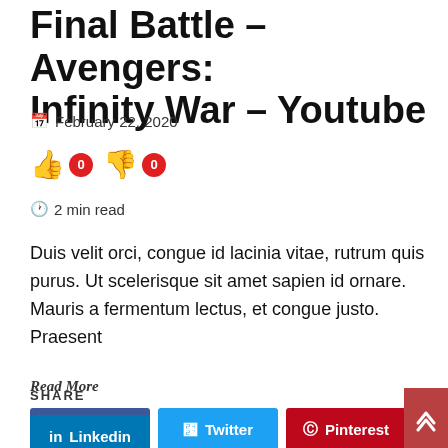Final Battle – Avengers: Infinity War – Youtube
February 22, 2020
👍 0  👎 0
2 min read
Duis velit orci, congue id lacinia vitae, rutrum quis purus. Ut scelerisque sit amet sapien id ornare. Mauris a fermentum lectus, et congue justo. Praesent
Read More
SHARE
Facebook  Twitter  Pinterest  Linkedin